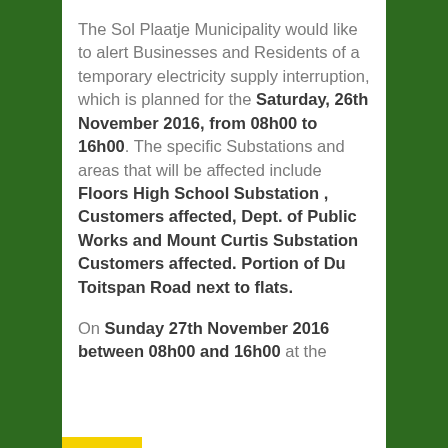The Sol Plaatje Municipality would like to alert Businesses and Residents of a temporary electricity supply interruption, which is planned for the Saturday, 26th November 2016, from 08h00 to 16h00. The specific Substations and areas that will be affected include Floors High School Substation , Customers affected, Dept. of Public Works and Mount Curtis Substation Customers affected. Portion of Du Toitspan Road next to flats.
On Sunday 27th November 2016 between 08h00 and 16h00 at the